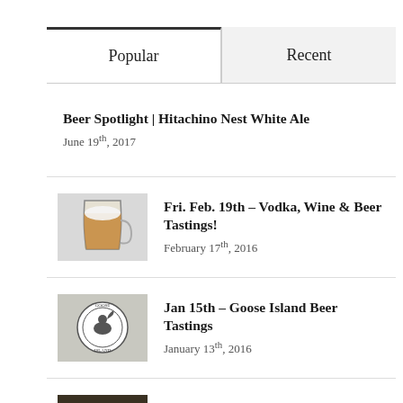Popular
Recent
Beer Spotlight | Hitachino Nest White Ale
June 19th, 2017
[Figure (photo): Glass of amber beer]
Fri. Feb. 19th – Vodka, Wine & Beer Tastings!
February 17th, 2016
[Figure (photo): Goose Island logo/bottle]
Jan 15th – Goose Island Beer Tastings
January 13th, 2016
[Figure (photo): Wine bottles in cellar setting]
Owen Roe Lady Rosa Syrah 2012
October 11th, 2018